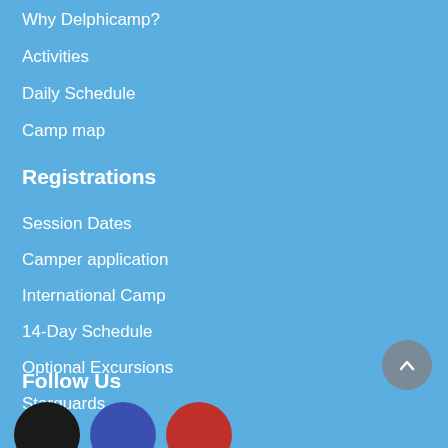Why Delphicamp?
Activities
Daily Schedule
Camp map
Registrations
Session Dates
Camper application
International Camp
14-Day Schedule
Optional Excursions
Starguards
FAQs
Follow Us
[Figure (illustration): Social media icon circles: black, blue, and red, partially visible at the bottom of the page]